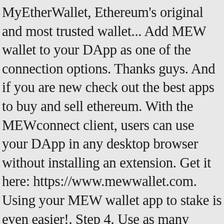MyEtherWallet, Ethereum's original and most trusted wallet... Add MEW wallet to your DApp as one of the connection options. Thanks guys. And if you are new check out the best apps to buy and sell ethereum. With the MEWconnect client, users can use your DApp in any desktop browser without installing an extension. Get it here: https://www.mewwallet.com. Using your MEW wallet app to stake is even easier!. Step 4. Use as many accounts as you like and fluidly switch between all of them, for privacy and convenience. We will teach you how to stay safe and secure in the world of crypto. Assets; Staking; Earn +220% APR; DApp Browser; Language The most trusted & secure crypto wallet. If you haven't backed up, please do so, keep your funds safe. )— Updates and fixes to biometric access— Minor fixes to Swap scenario— Other minor fixes and improvements.1.1.3INTRODUCING SWAP: MEW